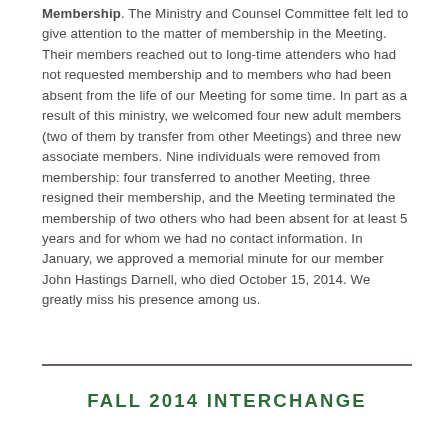Membership. The Ministry and Counsel Committee felt led to give attention to the matter of membership in the Meeting. Their members reached out to long-time attenders who had not requested membership and to members who had been absent from the life of our Meeting for some time. In part as a result of this ministry, we welcomed four new adult members (two of them by transfer from other Meetings) and three new associate members. Nine individuals were removed from membership: four transferred to another Meeting, three resigned their membership, and the Meeting terminated the membership of two others who had been absent for at least 5 years and for whom we had no contact information. In January, we approved a memorial minute for our member John Hastings Darnell, who died October 15, 2014. We greatly miss his presence among us.
FALL 2014 INTERCHANGE